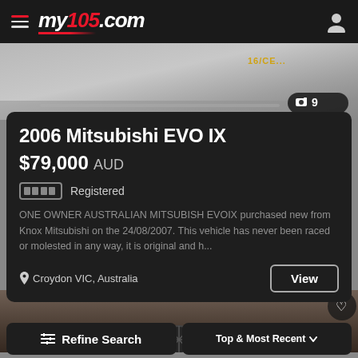my105.com
[Figure (photo): Car photo with photo count badge showing camera icon and number 9, and watermark text top right]
2006 Mitsubishi EVO IX
$79,000 AUD
Registered
ONE OWNER AUSTRALIAN MITSUBISH EVOIX purchased new from Knox Mitsubishi on the 24/08/2007. This vehicle has never been raced or molested in any way, it is original and h...
Croydon VIC, Australia
View
[Figure (photo): Second car listing photo preview showing dark mechanical parts/wheels]
Refine Search
Top & Most Recent